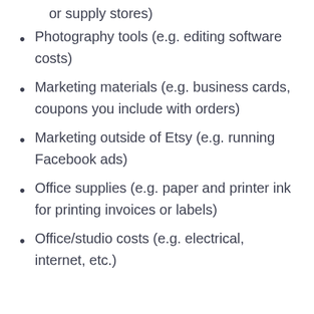or supply stores)
Photography tools (e.g. editing software costs)
Marketing materials (e.g. business cards, coupons you include with orders)
Marketing outside of Etsy (e.g. running Facebook ads)
Office supplies (e.g. paper and printer ink for printing invoices or labels)
Office/studio costs (e.g. electrical, internet, etc.)